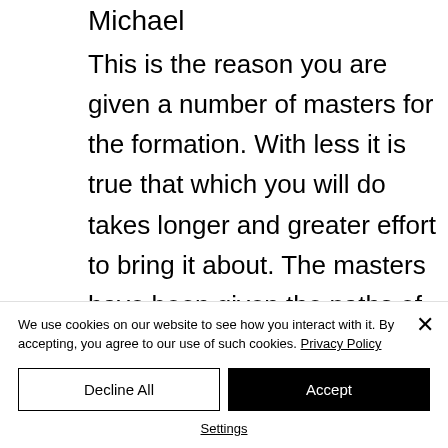Michael
This is the reason you are given a number of masters for the formation. With less it is true that which you will do takes longer and greater effort to bring it about. The masters have been given the paths of truth that they may use them in their lives to find wisdom. As you all stand together these days
We use cookies on our website to see how you interact with it. By accepting, you agree to our use of such cookies. Privacy Policy
Decline All
Accept
Settings